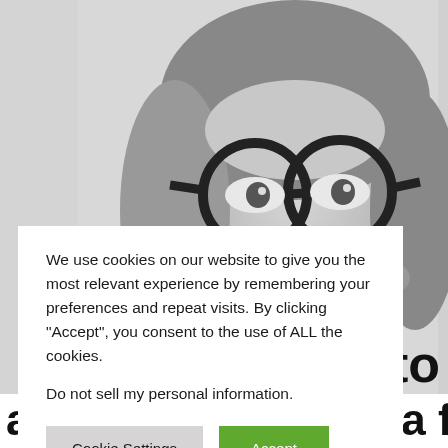[Figure (photo): Black and white portrait photo of a smiling middle-aged woman with short blonde hair and large round black-framed glasses, wearing a white blouse. The photo occupies the upper portion and right side of the page.]
We use cookies on our website to give you the most relevant experience by remembering your preferences and repeat visits. By clicking “Accept”, you consent to the use of ALL the cookies.
Do not sell my personal information.
Cookie Settings   Accept
er to
adversity. Born on a fault line